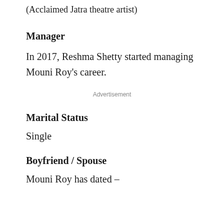(Acclaimed Jatra theatre artist)
Manager
In 2017, Reshma Shetty started managing Mouni Roy's career.
Advertisement
Marital Status
Single
Boyfriend / Spouse
Mouni Roy has dated –